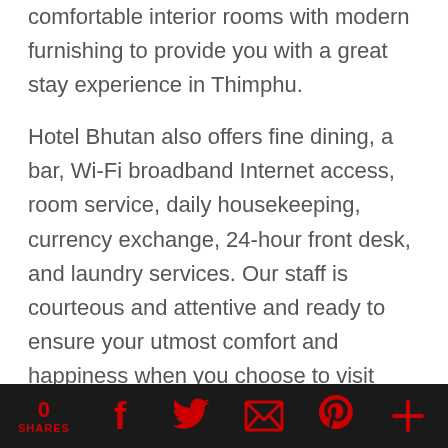comfortable interior rooms with modern furnishing to provide you with a great stay experience in Thimphu.
Hotel Bhutan also offers fine dining, a bar, Wi-Fi broadband Internet access, room service, daily housekeeping, currency exchange, 24-hour front desk, and laundry services. Our staff is courteous and attentive and ready to ensure your utmost comfort and happiness when you choose to visit Thimphu, the capital of Bhutan. Like the hotel and book a click...
0 SHARES | Facebook | Twitter | Email | Pinterest | More